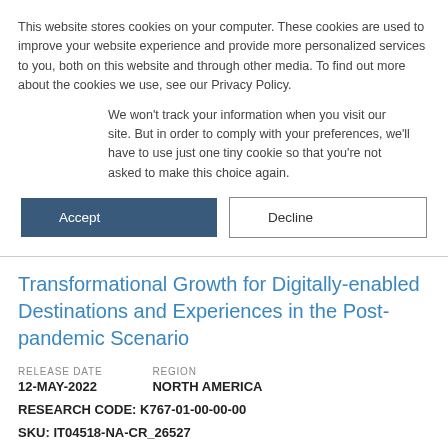This website stores cookies on your computer. These cookies are used to improve your website experience and provide more personalized services to you, both on this website and through other media. To find out more about the cookies we use, see our Privacy Policy.
We won't track your information when you visit our site. But in order to comply with your preferences, we'll have to use just one tiny cookie so that you're not asked to make this choice again.
Accept
Decline
Transformational Growth for Digitally-enabled Destinations and Experiences in the Post-pandemic Scenario
RELEASE DATE
12-MAY-2022
REGION
NORTH AMERICA
RESEARCH CODE: K767-01-00-00-00
SKU: IT04518-NA-CR_26527